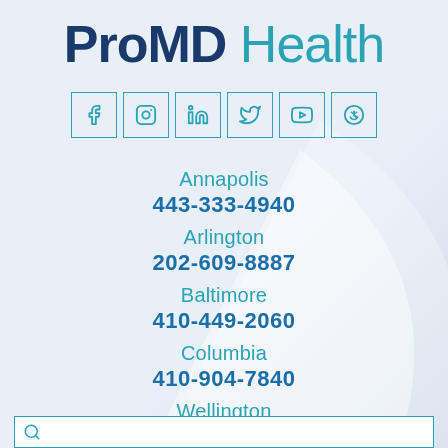[Figure (logo): ProMD Health logo with 'ProMD' in dark blue bold and 'Health' in teal light weight]
[Figure (infographic): Six social media icon buttons in teal outlined squares: Facebook, Instagram, LinkedIn, Twitter, YouTube, Yelp]
Annapolis
443-333-4940
Arlington
202-609-8887
Baltimore
410-449-2060
Columbia
410-904-7840
Wellington
561-288-6311